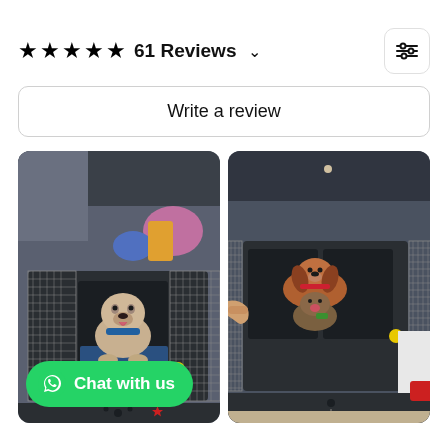★★★★★ 61 Reviews ∨
Write a review
[Figure (photo): A bulldog sitting inside a dark grey dog transport crate fitted in a car boot, with a blue mat, and various bags visible behind. A yellow safety marker dot visible on the crate. WhatsApp 'Chat with us' button overlay at bottom left.]
[Figure (photo): Two small dogs (Cavalier King Charles Spaniels) inside a double-compartment dark grey dog transport crate in a car boot. A person's hand is visible reaching in. Yellow safety marker dot visible on crate side.]